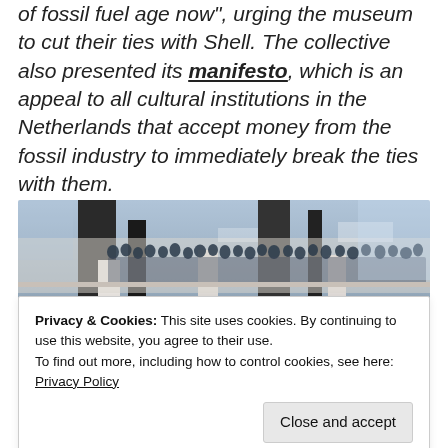of fossil fuel age now”, urging the museum to cut their ties with Shell. The collective also presented its manifesto, which is an appeal to all cultural institutions in the Netherlands that accept money from the fossil industry to immediately break the ties with them.
[Figure (photo): Interior museum photo showing a large crowd of people standing on an upper balcony level of a modern museum building, viewed from below. The architectural elements include white columns and a black and white patterned wall or artwork. People are gathered densely along the railing above.]
Privacy & Cookies: This site uses cookies. By continuing to use this website, you agree to their use.
To find out more, including how to control cookies, see here: Privacy Policy
Close and accept
[Figure (photo): Partial view of another photo at the bottom of the page, showing an outdoor or indoor scene, mostly cut off.]